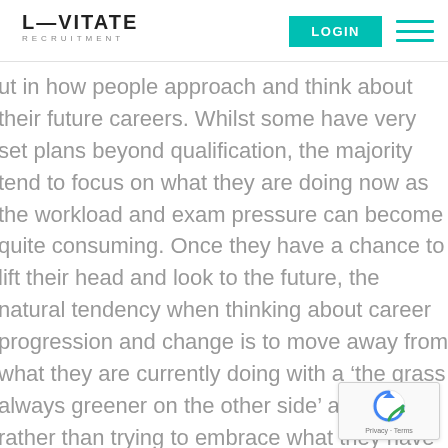LEVITATE RECRUITMENT | LOGIN
ut in how people approach and think about their future careers. Whilst some have very set plans beyond qualification, the majority tend to focus on what they are doing now as the workload and exam pressure can become quite consuming. Once they have a chance to lift their head and look to the future, the natural tendency when thinking about career progression and change is to move away from what they are currently doing with a ‘the grass always greener on the other side’ approach rather than trying to embrace what they have achieved and where it can take them internally or within another accountancy practice firm in the same discipline.